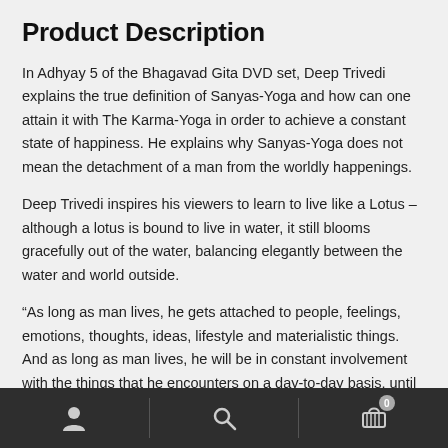Product Description
In Adhyay 5 of the Bhagavad Gita DVD set, Deep Trivedi explains the true definition of Sanyas-Yoga and how can one attain it with The Karma-Yoga in order to achieve a constant state of happiness. He explains why Sanyas-Yoga does not mean the detachment of a man from the worldly happenings.
Deep Trivedi inspires his viewers to learn to live like a Lotus – although a lotus is bound to live in water, it still blooms gracefully out of the water, balancing elegantly between the water and world outside.
“As long as man lives, he gets attached to people, feelings, emotions, thoughts, ideas, lifestyle and materialistic things. And as long as man lives, he will be in constant involvement with the things that he encounters on a day-to-day basis, until death and there isn’t another alternative to this. There is nothing wrong with
[navigation bar with account, search, and cart icons]